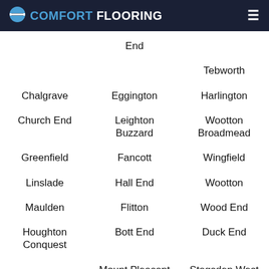COMFORT FLOORING
End
Tebworth
Chalgrave
Eggington
Harlington
Church End
Leighton Buzzard
Wootton Broadmead
Greenfield
Fancott
Wingfield
Linslade
Hall End
Wootton
Maulden
Flitton
Wood End
Houghton Conquest
Bott End
Duck End
Mount Pleasant
Stagsden West End